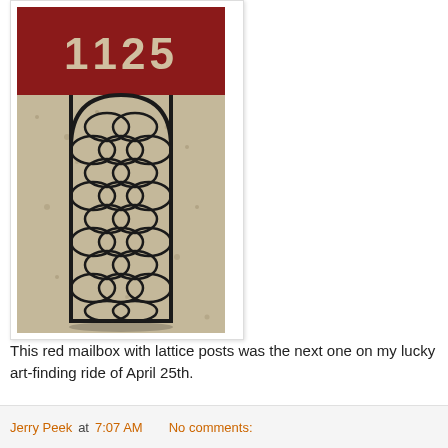[Figure (photo): A tall arched metal lattice wine rack standing upright outdoors on gravel, with a red surface bearing the number 1125 visible in the background behind it.]
This red mailbox with lattice posts was the next one on my lucky art-finding ride of April 25th.
Jerry Peek at 7:07 AM    No comments: